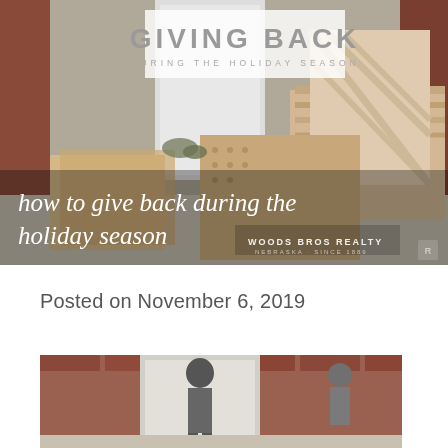[Figure (photo): Hero photo of holiday gift packages wrapped in kraft/tan paper with geometric patterns stacked on a doorstep, with brick wall background. Overlaid with title box 'GIVING BACK / DURING THE HOLIDAY SEASON' and blog post title 'how to give back during the holiday season' with Woods Bros Realty logo.]
Posted on November 6, 2019
[Figure (photo): Bottom portion of a photo showing a person standing on a doorstep, partially visible, with brick wall and door in background.]